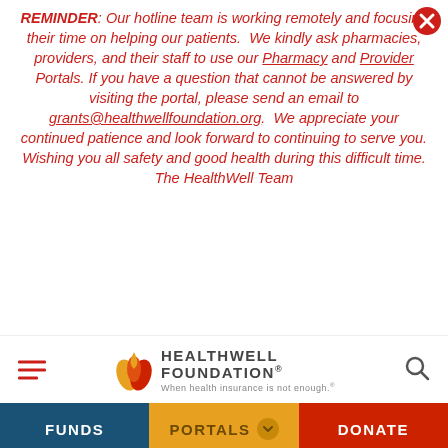REMINDER: Our hotline team is working remotely and focusing their time on helping our patients. We kindly ask pharmacies, providers, and their staff to use our Pharmacy and Provider Portals. If you have a question that cannot be answered by visiting the portal, please send an email to grants@healthwellfoundation.org. We appreciate your continued patience and look forward to continuing to serve you. Wishing you all safety and good health during this difficult time. The HealthWell Team
[Figure (logo): HealthWell Foundation logo with flame/leaf icon and tagline 'When health insurance is not enough.']
[Figure (screenshot): Website navigation bar with FUNDS, PORTALS (dropdown), and DONATE menu items in blue, gold, and red backgrounds respectively, followed by a row of diverse illustrated person avatars.]